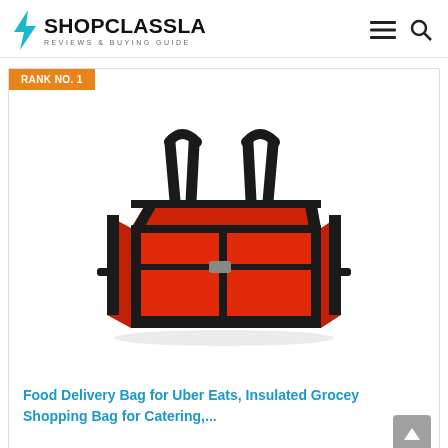SHOPCLASSLA REVIEWS & BUYING GUIDE
RANK NO. 1
[Figure (photo): Red insulated food delivery bag with black handles and black trim, Rank No. 1 product photo on white background]
Food Delivery Bag for Uber Eats, Insulated Grocey Shopping Bag for Catering,...